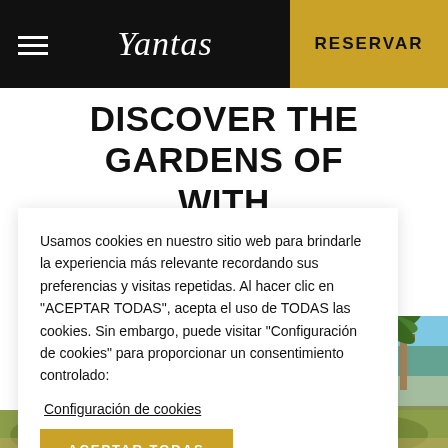Yantas — RESERVAR
DISCOVER THE GARDENS OF WITH ANADA
Usamos cookies en nuestro sitio web para brindarle la experiencia más relevante recordando sus preferencias y visitas repetidas. Al hacer clic en "ACEPTAR TODAS", acepta el uso de TODAS las cookies. Sin embargo, puede visitar "Configuración de cookies" para proporcionar un consentimiento controlado:
Configuración de cookies
ACEPTAR TODAS
[Figure (photo): Garden with palm trees, tropical plants and a pergola structure, blue sky visible.]
[Figure (photo): Bottom strip showing garden vegetation.]